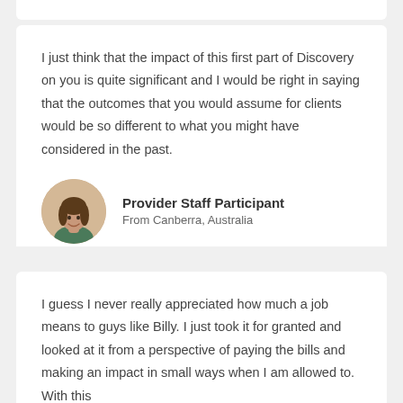I just think that the impact of this first part of Discovery on you is quite significant and I would be right in saying that the outcomes that you would assume for clients would be so different to what you might have considered in the past.
Provider Staff Participant
From Canberra, Australia
I guess I never really appreciated how much a job means to guys like Billy. I just took it for granted and looked at it from a perspective of paying the bills and making an impact in small ways when I am allowed to. With this